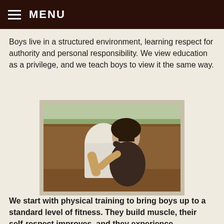☰ MENU
Boys live in a structured environment, learning respect for authority and personal responsibility. We view education as a privilege, and we teach boys to view it the same way.
[Figure (photo): Two people hugging outdoors on a dirt field, one wearing a white shirt and one with dark hair and a dark patterned top]
We start with physical training to bring boys up to a standard level of fitness. They build muscle, their self-respect improves, and they experience something positive as they begin to meet fitness goals. Those achievements carry over into other areas. In work projects and vocational skills and even in their education, their accomplishments bolster